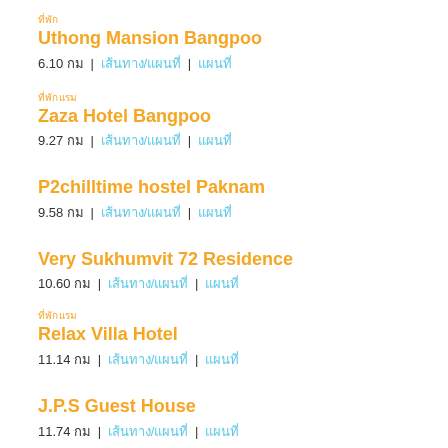ที่พัก
Uthong Mansion Bangpoo
6.10 กม | เส้นทาง/แผนที่ | แผนที่
ที่พักแรม
Zaza Hotel Bangpoo
9.27 กม | เส้นทาง/แผนที่ | แผนที่
P2chilltime hostel Paknam
9.58 กม | เส้นทาง/แผนที่ | แผนที่
Very Sukhumvit 72 Residence
10.60 กม | เส้นทาง/แผนที่ | แผนที่
ที่พักแรม
Relax Villa Hotel
11.14 กม | เส้นทาง/แผนที่ | แผนที่
J.P.S Guest House
11.74 กม | เส้นทาง/แผนที่ | แผนที่
Knightsbridge Sky River Ocean
12.87 กม | เส้นทาง/แผนที่ | แผนที่